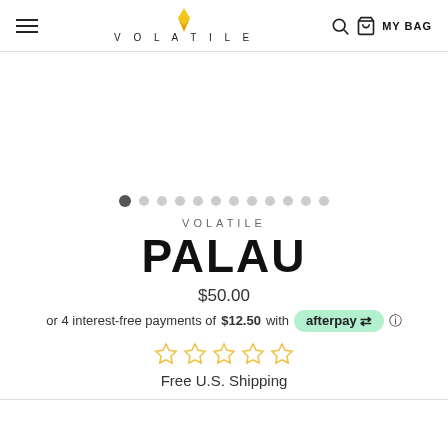VOLATILE — MY BAG
[Figure (other): Product image carousel placeholder with navigation dots (12 dots, first one active)]
VOLATILE
PALAU
$50.00
or 4 interest-free payments of $12.50 with afterpay
[Figure (other): 5 empty star rating icons in gold/yellow outline]
Free U.S. Shipping